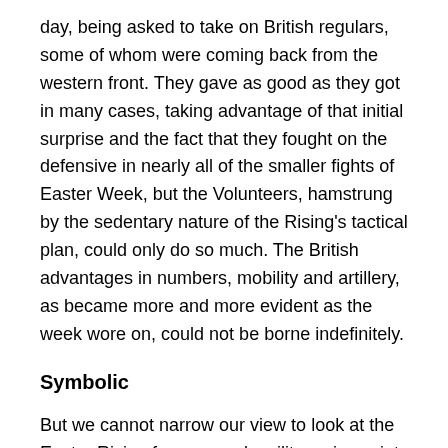day, being asked to take on British regulars, some of whom were coming back from the western front. They gave as good as they got in many cases, taking advantage of that initial surprise and the fact that they fought on the defensive in nearly all of the smaller fights of Easter Week, but the Volunteers, hamstrung by the sedentary nature of the Rising's tactical plan, could only do so much. The British advantages in numbers, mobility and artillery, as became more and more evident as the week wore on, could not be borne indefinitely.
Symbolic
But we cannot narrow our view to look at the Easter Rising from a purely military viewpoint, when even (some of) its organisers acknowledged the reality that the entire affair was never intended to be the kind of military success that